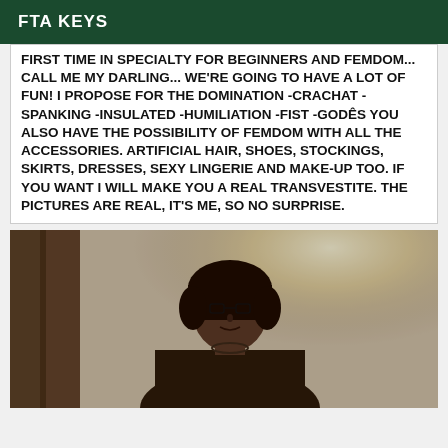FTA KEYS
FIRST TIME IN SPECIALTY FOR BEGINNERS AND FEMDOM... CALL ME MY DARLING... WE'RE GOING TO HAVE A LOT OF FUN! I PROPOSE FOR THE DOMINATION -CRACHAT -SPANKING -INSULATED -HUMILIATION -FIST -GODÊS YOU ALSO HAVE THE POSSIBILITY OF FEMDOM WITH ALL THE ACCESSORIES. ARTIFICIAL HAIR, SHOES, STOCKINGS, SKIRTS, DRESSES, SEXY LINGERIE AND MAKE-UP TOO. IF YOU WANT I WILL MAKE YOU A REAL TRANSVESTITE. THE PICTURES ARE REAL, IT'S ME, SO NO SURPRISE.
[Figure (photo): A person with a short dark bob wig wearing dark clothing, photographed in a dimly lit room with a bright light source behind them creating a glow effect. Wooden frame visible on the left side.]